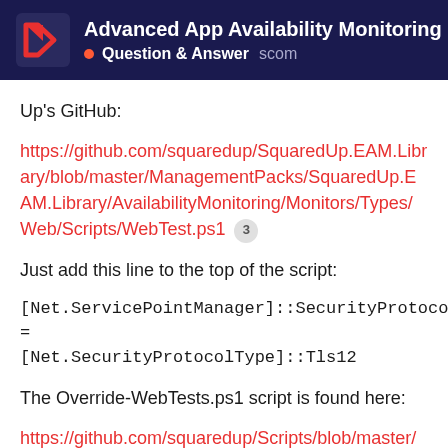Advanced App Availability Monitoring … • Question & Answer scom
Up's GitHub:
https://github.com/squaredup/SquaredUp.EAM.Library/blob/master/ManagementPacks/SquaredUp.EAM.Library/AvailabilityMonitoring/Monitors/Types/Web/Scripts/WebTest.ps1 [3]
Just add this line to the top of the script:
[Net.ServicePointManager]::SecurityProtocol = [Net.SecurityProtocolType]::Tls12
The Override-WebTests.ps1 script is found here:
https://github.com/squaredup/Scripts/blob/master/Override-WebTests.ps1 [?]